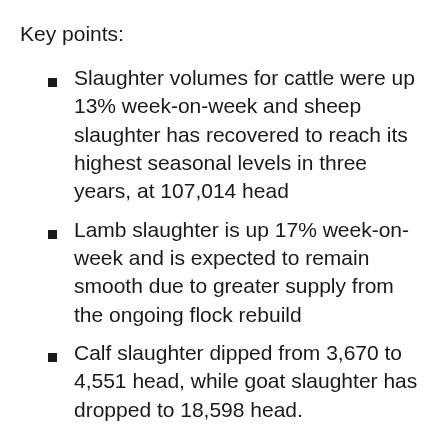Key points:
Slaughter volumes for cattle were up 13% week-on-week and sheep slaughter has recovered to reach its highest seasonal levels in three years, at 107,014 head
Lamb slaughter is up 17% week-on-week and is expected to remain smooth due to greater supply from the ongoing flock rebuild
Calf slaughter dipped from 3,670 to 4,551 head, while goat slaughter has dropped to 18,598 head.
National slaughter volumes for cattle, sheep